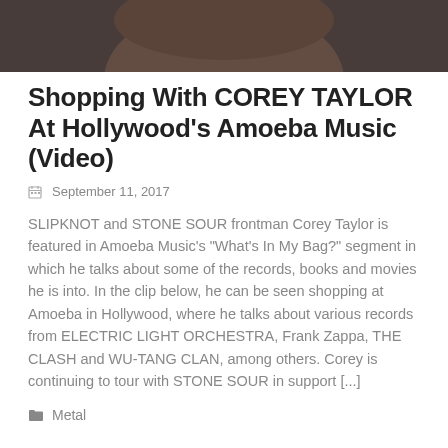[Figure (photo): Close-up photo of a man's face/neck, dark background, appears to be Corey Taylor]
Shopping With COREY TAYLOR At Hollywood's Amoeba Music (Video)
September 11, 2017
SLIPKNOT and STONE SOUR frontman Corey Taylor is featured in Amoeba Music's "What's In My Bag?" segment in which he talks about some of the records, books and movies he is into. In the clip below, he can be seen shopping at Amoeba in Hollywood, where he talks about various records from ELECTRIC LIGHT ORCHESTRA, Frank Zappa, THE CLASH and WU-TANG CLAN, among others. Corey is continuing to tour with STONE SOUR in support [...]
Metal